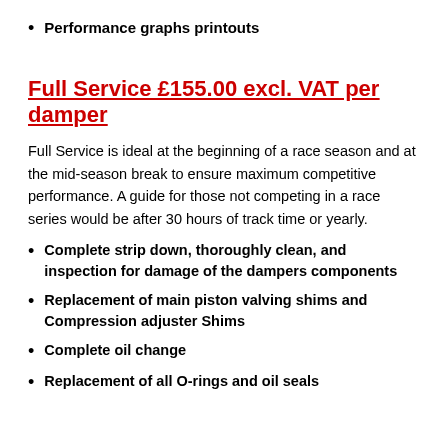Performance graphs printouts
Full Service £155.00 excl. VAT per damper
Full Service is ideal at the beginning of a race season and at the mid-season break to ensure maximum competitive performance. A guide for those not competing in a race series would be after 30 hours of track time or yearly.
Complete strip down, thoroughly clean, and inspection for damage of the dampers components
Replacement of main piston valving shims and Compression adjuster Shims
Complete oil change
Replacement of all O-rings and oil seals